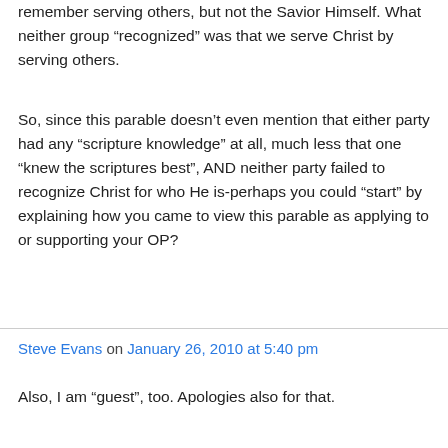remember serving others, but not the Savior Himself. What neither group “recognized” was that we serve Christ by serving others.
So, since this parable doesn’t even mention that either party had any “scripture knowledge” at all, much less that one “knew the scriptures best”, AND neither party failed to recognize Christ for who He is-perhaps you could “start” by explaining how you came to view this parable as applying to or supporting your OP?
Steve Evans on January 26, 2010 at 5:40 pm
Also, I am “guest”, too. Apologies also for that.